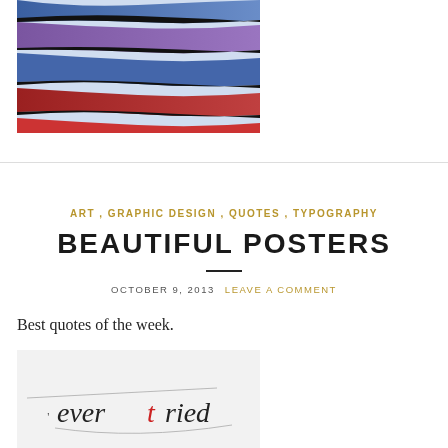[Figure (photo): Close-up photo of colorful hot air balloon fabric in blue, purple, and red wavy stripes]
ART , GRAPHIC DESIGN , QUOTES , TYPOGRAPHY
BEAUTIFUL POSTERS
OCTOBER 9, 2013  LEAVE A COMMENT
Best quotes of the week.
[Figure (photo): Poster image showing typographic text 'ever tried' with stylized lettering in black and red]